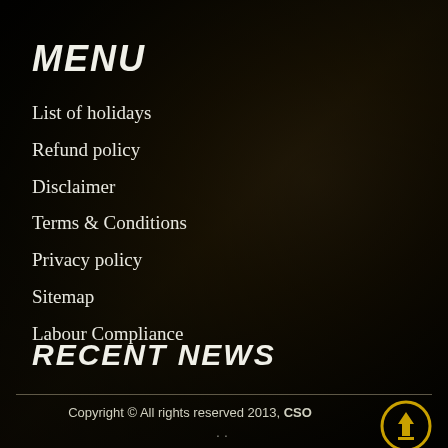MENU
List of holidays
Refund policy
Disclaimer
Terms & Conditions
Privacy policy
Sitemap
Labour Compliance
RECENT NEWS
Copyright © All rights reserved 2013, CSO